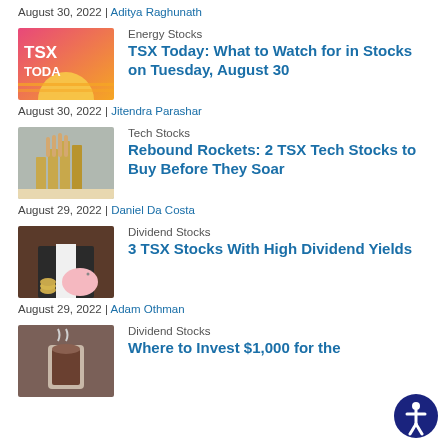August 30, 2022 | Aditya Raghunath
[Figure (photo): TSX Today thumbnail with pink/orange gradient background and text 'TSX TODAY']
Energy Stocks
TSX Today: What to Watch for in Stocks on Tuesday, August 30
August 30, 2022 | Jitendra Parashar
[Figure (photo): Person stacking coins on a wooden surface]
Tech Stocks
Rebound Rockets: 2 TSX Tech Stocks to Buy Before They Soar
August 29, 2022 | Daniel Da Costa
[Figure (photo): Person in suit holding piggy bank with stacked coins]
Dividend Stocks
3 TSX Stocks With High Dividend Yields
August 29, 2022 | Adam Othman
[Figure (photo): Person with coffee cup partial view]
Dividend Stocks
Where to Invest $1,000 for the